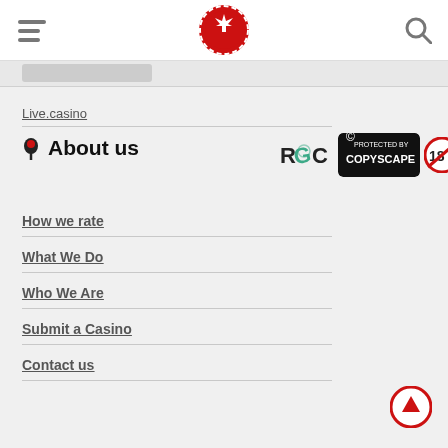[Figure (logo): Casino.ca logo — red poker chip with Canadian maple leaf]
Live.casino
About us
[Figure (logo): RGC logo]
[Figure (logo): Protected by Copyscape badge]
[Figure (logo): 18+ badge]
How we rate
What We Do
Who We Are
Submit a Casino
Contact us